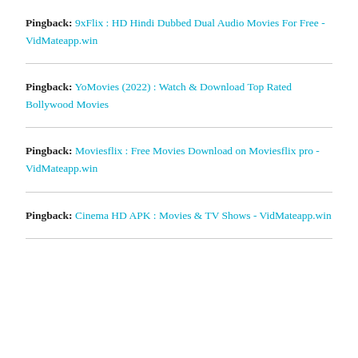Pingback: 9xFlix : HD Hindi Dubbed Dual Audio Movies For Free - VidMateapp.win
Pingback: YoMovies (2022) : Watch & Download Top Rated Bollywood Movies
Pingback: Moviesflix : Free Movies Download on Moviesflix pro - VidMateapp.win
Pingback: Cinema HD APK : Movies & TV Shows - VidMateapp.win